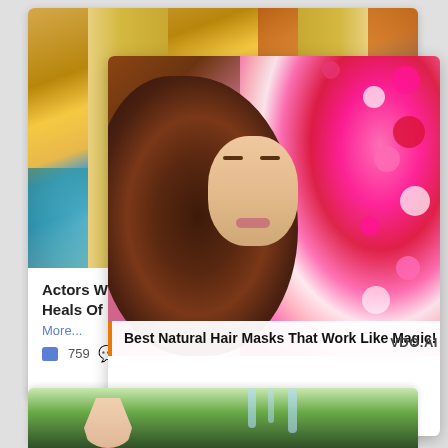[Figure (photo): Background social media card showing a blonde woman with blue eyes against an orange and teal background, partially visible behind a foreground card]
Actors W Heals Of
More...
759
[Figure (photo): Foreground social media card showing a woman with voluminous dark curly hair lying among pink flowers, with a caption overlay reading 'Best Natural Hair Masks That Work Like Magic!' and VDO.AI watermark]
Best Natural Hair Masks That Work Like Magic!
[Figure (photo): Bottom partial card showing a hand and green garden/fountain background, partially visible at bottom of page]